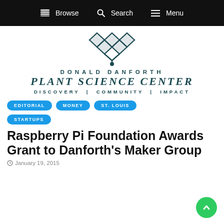Browse  Search  Menu
[Figure (logo): Donald Danforth Plant Science Center logo with decorative plant/diamond motif above text reading DONALD DANFORTH PLANT SCIENCE CENTER DISCOVERY | COMMUNITY | IMPACT]
EDITORIAL
MONEY
ST. LOUIS
STARTUPS
Raspberry Pi Foundation Awards Grant to Danforth’s Maker Group
January 19, 2015